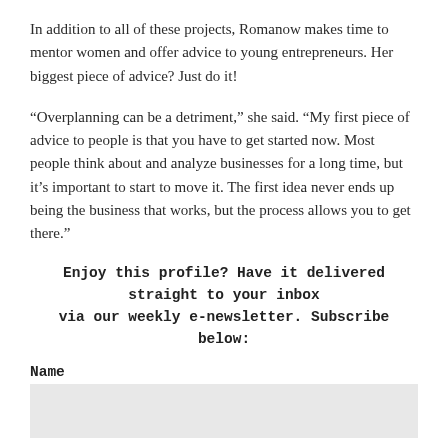In addition to all of these projects, Romanow makes time to mentor women and offer advice to young entrepreneurs. Her biggest piece of advice? Just do it!
“Overplanning can be a detriment,” she said. “My first piece of advice to people is that you have to get started now. Most people think about and analyze businesses for a long time, but it’s important to start to move it. The first idea never ends up being the business that works, but the process allows you to get there.”
Enjoy this profile? Have it delivered straight to your inbox via our weekly e-newsletter. Subscribe below:
Name